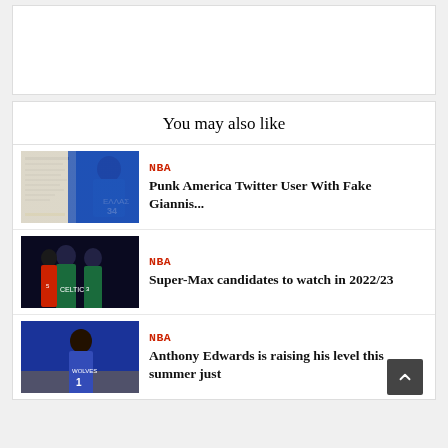You may also like
NBA
Punk America Twitter User With Fake Giannis...
NBA
Super-Max candidates to watch in 2022/23
NBA
Anthony Edwards is raising his level this summer just